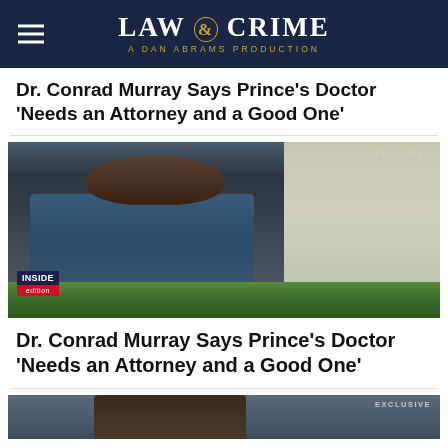LAW & CRIME — A DAN ABRAMS PRODUCTION
Dr. Conrad Murray Says Prince's Doctor 'Needs an Attorney and a Good One'
[Figure (photo): Dr. Conrad Murray leaning on a surface with plants in the foreground, wearing a blue shirt. Inside Edition logo visible. EXCLUSIVE badge in top right corner.]
Dr. Conrad Murray Says Prince's Doctor 'Needs an Attorney and a Good One'
[Figure (photo): Partial photo of a person at the bottom of the page. EXCLUSIVE badge in top right corner.]